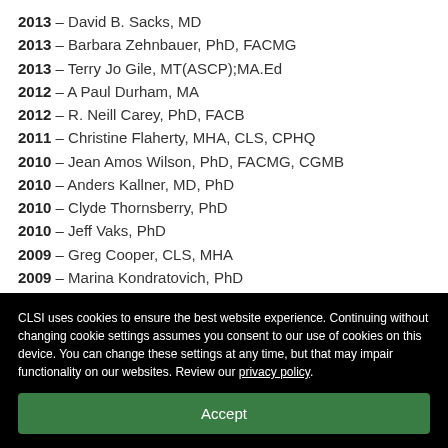2013 – David B. Sacks, MD
2013 – Barbara Zehnbauer, PhD, FACMG
2013 – Terry Jo Gile, MT(ASCP);MA.Ed
2012 – A Paul Durham, MA
2012 – R. Neill Carey, PhD, FACB
2011 – Christine Flaherty, MHA, CLS, CPHQ
2010 – Jean Amos Wilson, PhD, FACMG, CGMB
2010 – Anders Kallner, MD, PhD
2010 – Clyde Thornsberry, PhD
2010 – Jeff Vaks, PhD
2009 – Greg Cooper, CLS, MHA
2009 – Marina Kondratovich, PhD
2009 – James Nichols, PhD, DABCC, FACB
CLSI uses cookies to ensure the best website experience. Continuing without changing cookie settings assumes you consent to our use of cookies on this device. You can change these settings at any time, but that may impair functionality on our websites. Review our privacy policy.
Accept